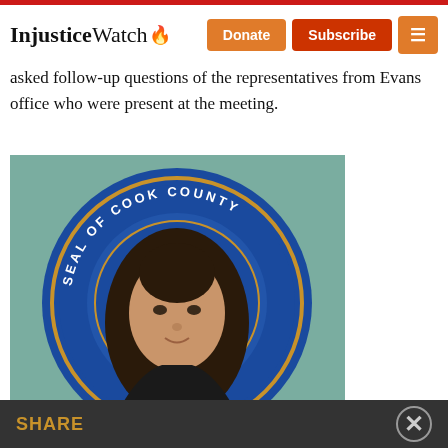InjusticeWatch — Donate | Subscribe | Menu
asked follow-up questions of the representatives from Evans office who were present at the meeting.
[Figure (photo): Portrait of a woman with long dark hair, smiling, standing in front of the Seal of Cook County (a circular blue and gold official county seal).]
SHARE